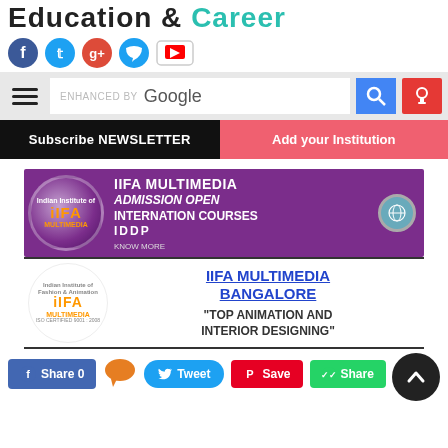Education & Career
[Figure (infographic): Social media icons row: Facebook, Twitter, Google+, Chat bubble, YouTube]
[Figure (infographic): Navigation bar with hamburger menu, Google enhanced search box, search button, mic button]
Subscribe NEWSLETTER
Add your Institution
[Figure (infographic): IIFA Multimedia advertisement banner - purple background: IIFA MULTIMEDIA ADMISSION OPEN INTERNATION COURSES IDDP]
[Figure (infographic): IIFA Multimedia Bangalore advertisement - white background: TOP ANIMATION AND INTERIOR DESIGNING]
[Figure (infographic): Social sharing buttons: Facebook Share 0, Tweet, Save (Pinterest), WhatsApp Share, back-to-top button, comments icon]